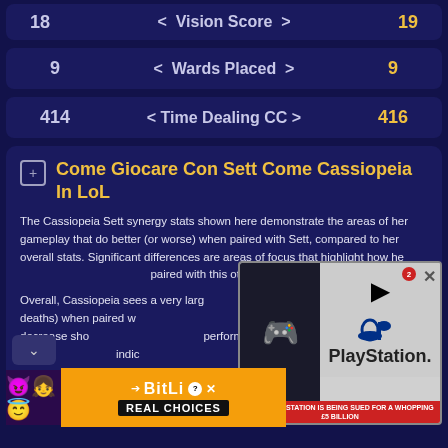| Left | Stat | Right |
| --- | --- | --- |
| 18 | < Vision Score > | 19 |
| 9 | < Wards Placed > | 9 |
| 414 | < Time Dealing CC > | 416 |
Come Giocare Con Sett Come Cassiopeia In LoL
The Cassiopeia Sett synergy stats shown here demonstrate the areas of her gameplay that do better (or worse) when paired with Sett, compared to her overall stats. Significant differences are areas of focus that highlight how her gameplay changes when paired with this other champion.
Overall, Cassiopeia sees a very large change in her KDA (kills and assists to deaths) when paired with Sett. Her KDA changes from NaN to NaN. This decrease shows that she is likely to perform not as well in ranked LoL roles as Cassiopeia, which indicates...
When... notice... that...
[Figure (screenshot): PlayStation advertisement video overlay showing PlayStation logo and a silhouette figure, with red banner reading 'SONY PLAYSTATION IS BEING SUED FOR A WHOPPING £5 BILLION']
[Figure (screenshot): BitLife REAL CHOICES advertisement banner with emoji characters (devil, women, angel) and game logo]